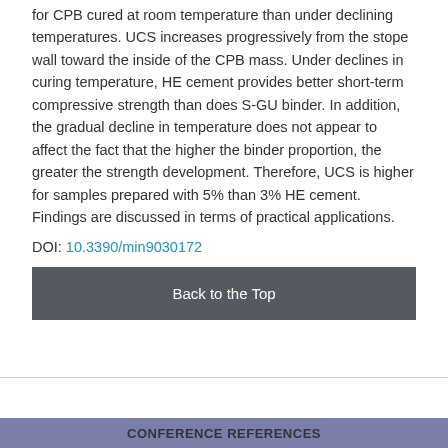for CPB cured at room temperature than under declining temperatures. UCS increases progressively from the stope wall toward the inside of the CPB mass. Under declines in curing temperature, HE cement provides better short-term compressive strength than does S-GU binder. In addition, the gradual decline in temperature does not appear to affect the fact that the higher the binder proportion, the greater the strength development. Therefore, UCS is higher for samples prepared with 5% than 3% HE cement. Findings are discussed in terms of practical applications.
DOI: 10.3390/min9030172
Back to the Top
CONFERENCE REFERENCES